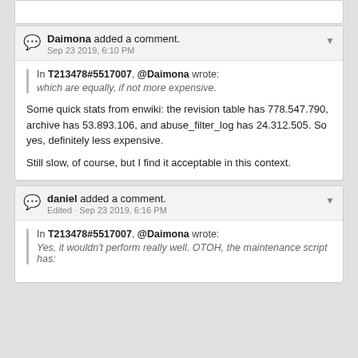(partial content from previous section)
Daimona added a comment. Sep 23 2019, 6:10 PM
In T213478#5517007, @Daimona wrote: which are equally, if not more expensive.
Some quick stats from enwiki: the revision table has 778.547.790, archive has 53.893.106, and abuse_filter_log has 24.312.505. So yes, definitely less expensive.
Still slow, of course, but I find it acceptable in this context.
daniel added a comment. Edited · Sep 23 2019, 6:16 PM
In T213478#5517007, @Daimona wrote: Yes, it wouldn't perform really well. OTOH, the maintenance script has: